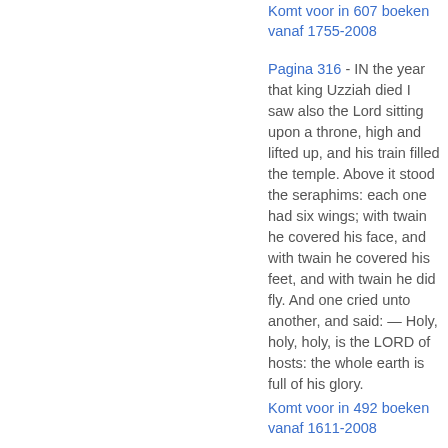Komt voor in 607 boeken vanaf 1755-2008
Pagina 316 - IN the year that king Uzziah died I saw also the Lord sitting upon a throne, high and lifted up, and his train filled the temple. Above it stood the seraphims: each one had six wings; with twain he covered his face, and with twain he covered his feet, and with twain he did fly. And one cried unto another, and said: — Holy, holy, holy, is the LORD of hosts: the whole earth is full of his glory.
Komt voor in 492 boeken vanaf 1611-2008